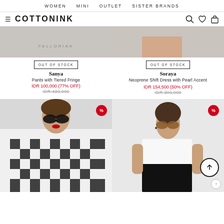WOMEN  MINI  OUTLET  SISTER BRANDS
COTTONINK
[Figure (screenshot): Product image placeholder for Sanya Pants with Tiered Fringe, out of stock]
OUT OF STOCK
Sanya
Pants with Tiered Fringe
IDR 100,000 (77% OFF)
IDR 439,000
[Figure (screenshot): Product image placeholder for Soraya Neoprene Shift Dress with Pearl Accent, out of stock]
OUT OF STOCK
Soraya
Neoprene Shift Dress with Pearl Accent
IDR 154,500 (50% OFF)
IDR 309,000
[Figure (photo): Woman wearing black and white gingham shirt with sunglasses, sale badge showing %]
[Figure (photo): Woman wearing white sleeveless top with sunglasses, sale badge showing %, scroll-up arrow button, help button]